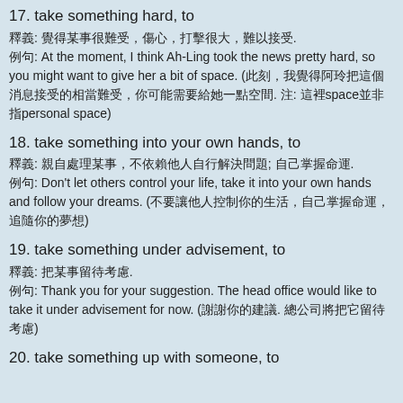17. take something hard, to
釋義: 覺得某事很難受，傷心，打擊很大，難以接受.
例句: At the moment, I think Ah-Ling took the news pretty hard, so you might want to give her a bit of space. (此刻，我覺得阿玲把這個消息接受的相當難受，你可能需要給她一點空間. 注: 這裡space並非指personal space)
18. take something into your own hands, to
釋義: 親自處理某事，不依賴他人自行解決問題; 自己掌握命運.
例句: Don't let others control your life, take it into your own hands and follow your dreams. (不要讓他人控制你的生活，自己掌握命運，追隨你的夢想)
19. take something under advisement, to
釋義: 把某事留待考慮.
例句: Thank you for your suggestion. The head office would like to take it under advisement for now. (謝謝你的建議. 總公司將把它留待考慮)
20. take something up with someone, to